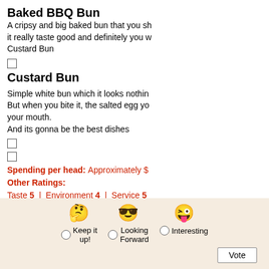Baked BBQ Bun
A cripsy and big baked bun that you sh... it really taste good and definitely you w... Custard Bun
[Figure (other): Checkbox (unchecked)]
Custard Bun
Simple white bun which it looks nothin... But when you bite it, the salted egg yo... your mouth.
And its gonna be the best dishes
[Figure (other): Checkbox (unchecked)]
[Figure (other): Checkbox (unchecked)]
Spending per head: Approximately $...
Other Ratings:
Taste 5 | Environment 4 | Service 5
[Figure (infographic): Voting section with three emoji options: Keep it up!, Looking Forward, Interesting. Each has a radio button. A Vote button is at the bottom right.]